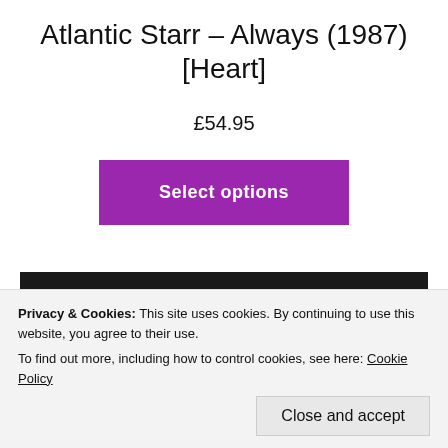Atlantic Starr – Always (1987) [Heart]
£54.95
Select options
[Figure (photo): Product image showing a framed vinyl record with dark outer frame and light grey inner mount, with top of a dark vinyl disc visible at the bottom center.]
Privacy & Cookies: This site uses cookies. By continuing to use this website, you agree to their use.
To find out more, including how to control cookies, see here: Cookie Policy
Close and accept